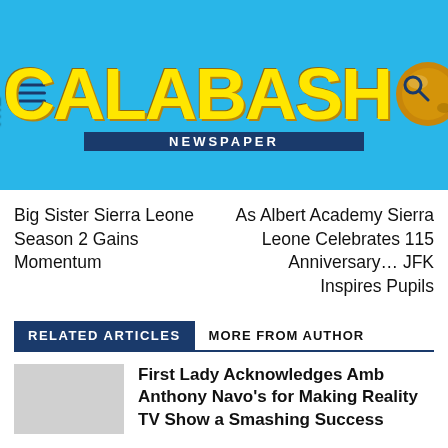THE CALABASH NEWSPAPER
Big Sister Sierra Leone Season 2 Gains Momentum
As Albert Academy Sierra Leone Celebrates 115 Anniversary… JFK Inspires Pupils
RELATED ARTICLES
MORE FROM AUTHOR
First Lady Acknowledges Amb Anthony Navo's for Making Reality TV Show a Smashing Success
SLAJ Concludes Triennial General Meeting 2022 in Makeni